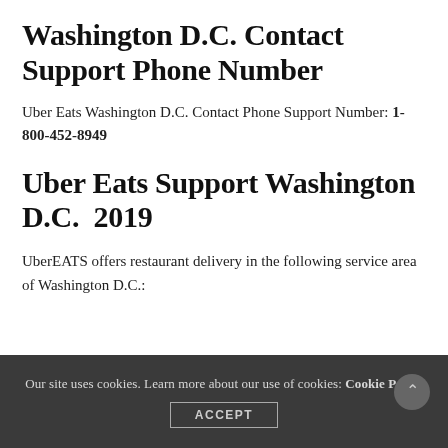Washington D.C. Contact Support Phone Number
Uber Eats Washington D.C. Contact Phone Support Number: 1-800-452-8949
Uber Eats Support Washington D.C. 2019
UberEATS offers restaurant delivery in the following service area of Washington D.C.:
Our site uses cookies. Learn more about our use of cookies: Cookie Policy ACCEPT